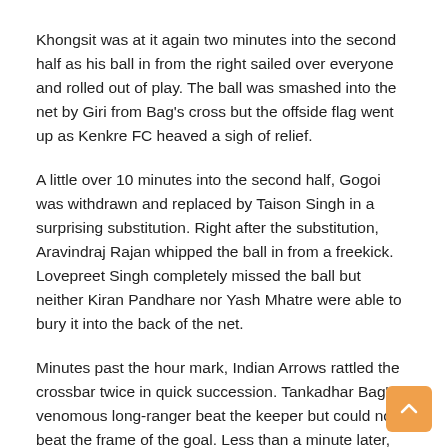Khongsit was at it again two minutes into the second half as his ball in from the right sailed over everyone and rolled out of play. The ball was smashed into the net by Giri from Bag's cross but the offside flag went up as Kenkre FC heaved a sigh of relief.
A little over 10 minutes into the second half, Gogoi was withdrawn and replaced by Taison Singh in a surprising substitution. Right after the substitution, Aravindraj Rajan whipped the ball in from a freekick. Lovepreet Singh completely missed the ball but neither Kiran Pandhare nor Yash Mhatre were able to bury it into the back of the net.
Minutes past the hour mark, Indian Arrows rattled the crossbar twice in quick succession. Tankadhar Bag's venomous long-ranger beat the keeper but could not beat the frame of the goal. Less than a minute later, Vinay Harji's effort from the edge of the box also beat the keeper and skimmed the bar. At the other end, Mhatre got the ball after a poor clearance attempt. However, Mhatre's effort was saved by Lovepreet Singh.